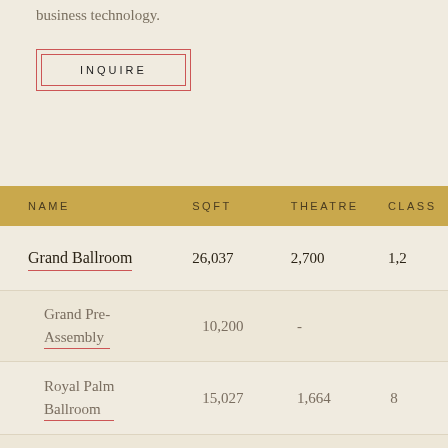business technology.
[Figure (other): INQUIRE button with double red border]
| NAME | SQFT | THEATRE | CLASS |
| --- | --- | --- | --- |
| Grand Ballroom | 26,037 | 2,700 | 1,2… |
| Grand Pre-Assembly | 10,200 | - |  |
| Royal Palm Ballroom | 15,027 | 1,664 | 8… |
| Royal Ballroom | 7,360 |  |  |